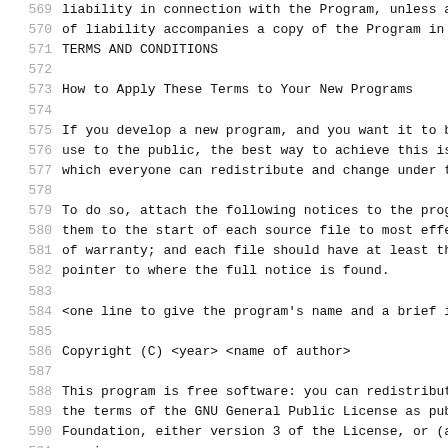569   liability in connection with the Program, unless a
570   of liability accompanies a copy of the Program in
571   TERMS AND CONDITIONS
572
573   How to Apply These Terms to Your New Programs
574
575   If you develop a new program, and you want it to b
576   use to the public, the best way to achieve this is
577   which everyone can redistribute and change under t
578
579   To do so, attach the following notices to the prog
580   them to the start of each source file to most effe
581   of warranty; and each file should have at least th
582   pointer to where the full notice is found.
583
584   <one line to give the program's name and a brief i
585
586   Copyright (C) <year> <name of author>
587
588   This program is free software: you can redistribut
589   the terms of the GNU General Public License as pub
590   Foundation, either version 3 of the License, or (a
591   version.